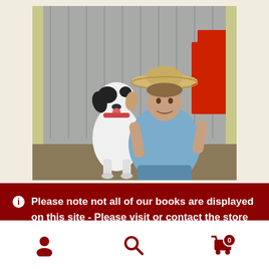[Figure (photo): A woman wearing a wide-brim hat and sleeveless blue shirt sitting with a black and white dog, likely on farm equipment, with a red tractor visible on the right and a corrugated metal shed in the background.]
Please note not all of our books are displayed on this site - Please visit or contact the store for our full collection.
Dismiss
[Figure (illustration): Bottom navigation bar with three icons: a person/user icon on the left, a search/magnifying glass icon in the center, and a shopping cart icon with badge showing 0 on the right.]